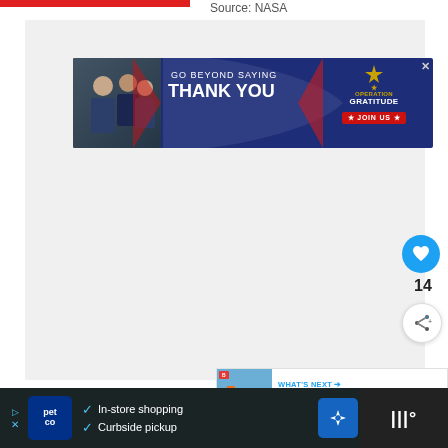Source: NASA
[Figure (illustration): Advertisement banner: GO BEYOND SAYING THANK YOU - Operation Gratitude JOIN US]
[Figure (infographic): Like button with heart icon (blue circle), count of 14, share button]
[Figure (screenshot): WHAT'S NEXT arrow: How do Water Boil in Tall...]
[Figure (infographic): Petco bottom advertisement with In-store shopping and Curbside pickup checkmarks]